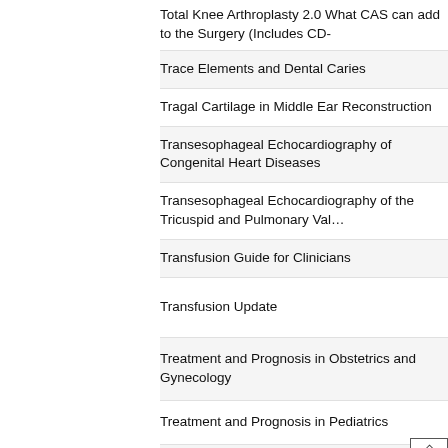Total Knee Arthroplasty 2.0 What CAS can add to the Surgery (Includes CD-
Trace Elements and Dental Caries
Tragal Cartilage in Middle Ear Reconstruction
Transesophageal Echocardiography of Congenital Heart Diseases
Transesophageal Echocardiography of the Tricuspid and Pulmonary Va…
Transfusion Guide for Clinicians
Transfusion Update
Treatment and Prognosis in Obstetrics and Gynecology
Treatment and Prognosis in Pediatrics
Treatment of Skin Diseases
Treatment Planning Steps in Oral Implantology: A Color Atlas
Trichoscopy: A Text and Atlas